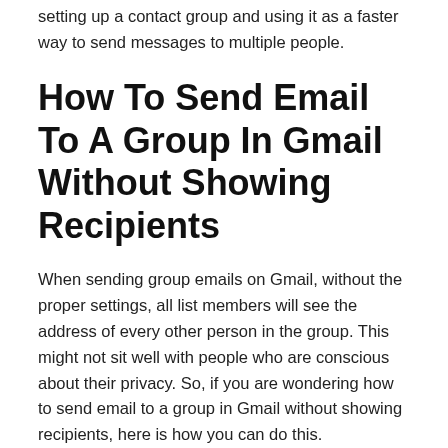setting up a contact group and using it as a faster way to send messages to multiple people.
How To Send Email To A Group In Gmail Without Showing Recipients
When sending group emails on Gmail, without the proper settings, all list members will see the address of every other person in the group. This might not sit well with people who are conscious about their privacy. So, if you are wondering how to send email to a group in Gmail without showing recipients, here is how you can do this.
After that, select the bcc field. If you can't find the bcc option, you can use the keyboard shortcut Ctrl+Shift+B